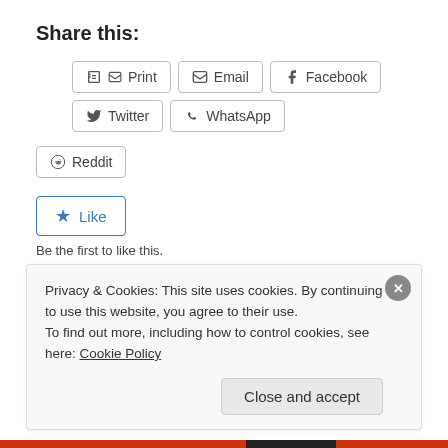Share this:
Print | Email | Facebook | Twitter | WhatsApp | Reddit
Like
Be the first to like this.
June 21, 2016   Leave a Reply
Privacy & Cookies: This site uses cookies. By continuing to use this website, you agree to their use.
To find out more, including how to control cookies, see here: Cookie Policy
Close and accept